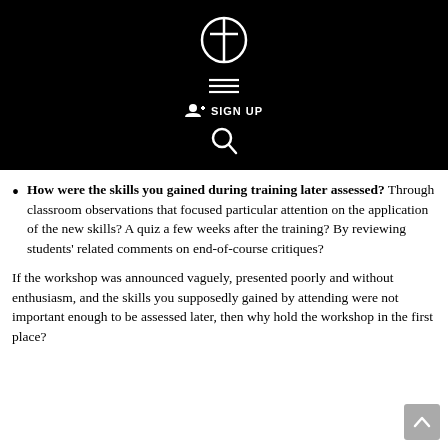[Figure (logo): Website header with logo (FF icon), hamburger menu, Sign Up button, and search icon on black background]
How were the skills you gained during training later assessed? Through classroom observations that focused particular attention on the application of the new skills? A quiz a few weeks after the training? By reviewing students' related comments on end-of-course critiques?
If the workshop was announced vaguely, presented poorly and without enthusiasm, and the skills you supposedly gained by attending were not important enough to be assessed later, then why hold the workshop in the first place?